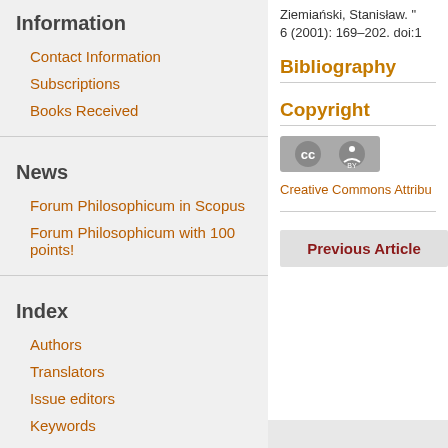Information
Contact Information
Subscriptions
Books Received
News
Forum Philosophicum in Scopus
Forum Philosophicum with 100 points!
Index
Authors
Translators
Issue editors
Keywords
Ziemiański, Stanisław. "6 (2001): 169–202. doi:1
Bibliography
Copyright
[Figure (logo): Creative Commons Attribution (CC BY) license badge]
Creative Commons Attribu
Previous Article